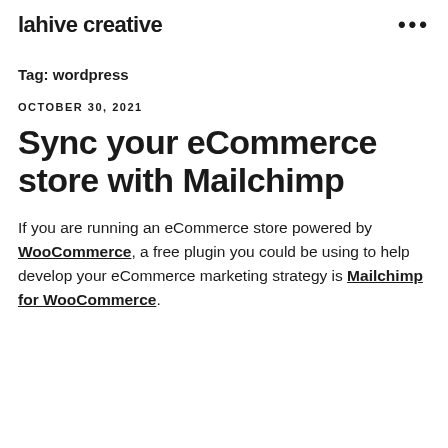lahive creative   •••
Tag: wordpress
OCTOBER 30, 2021
Sync your eCommerce store with Mailchimp
If you are running an eCommerce store powered by WooCommerce, a free plugin you could be using to help develop your eCommerce marketing strategy is Mailchimp for WooCommerce.